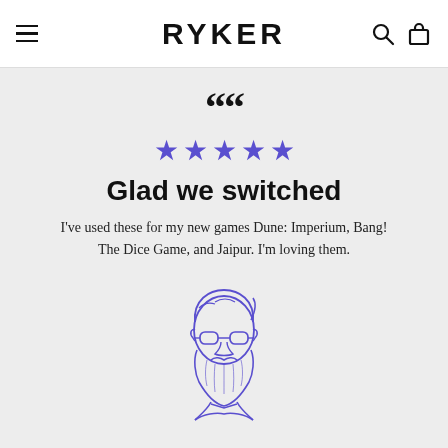RYKER
““
[Figure (illustration): Five purple/violet filled star icons indicating a 5-star rating]
Glad we switched
I've used these for my new games Dune: Imperium, Bang! The Dice Game, and Jaipur. I'm loving them.
[Figure (illustration): Purple line illustration of a bearded man with glasses, portrait style icon]